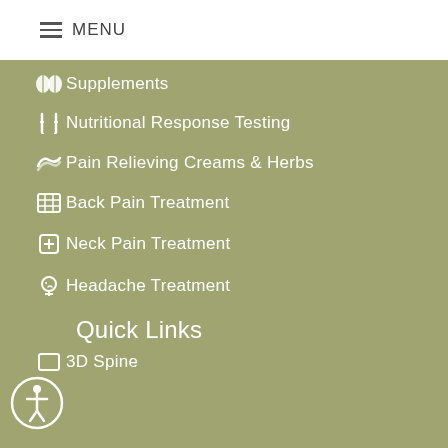MENU
Supplements
Nutritional Response Testing
Pain Relieving Creams & Herbs
Back Pain Treatment
Neck Pain Treatment
Headache Treatment
Quick Links
3D Spine